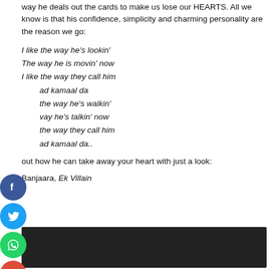way he deals out the cards to make us lose our HEARTS. All we know is that his confidence, simplicity and charming personality are the reason we go:
I like the way he's lookin'
The way he is movin' now
I like the way they call him
ad kamaal da
the way he's walkin'
vay he's talkin' now
the way they call him
ad kamaal da..
out how he can take away your heart with just a look:
Banjaara, Ek Villain
[Figure (screenshot): Dark video embed area at the bottom of the page]